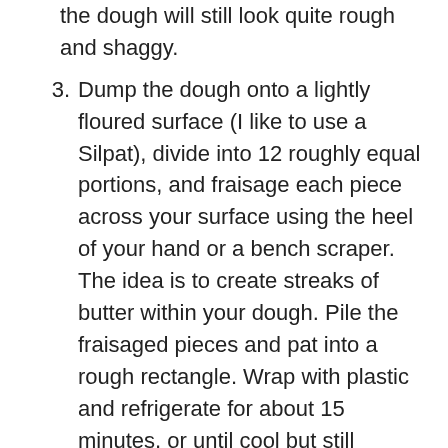the dough will still look quite rough and shaggy.
3. Dump the dough onto a lightly floured surface (I like to use a Silpat), divide into 12 roughly equal portions, and fraisage each piece across your surface using the heel of your hand or a bench scraper. The idea is to create streaks of butter within your dough. Pile the fraisaged pieces and pat into a rough rectangle. Wrap with plastic and refrigerate for about 15 minutes, or until cool but still pliable.
4. Using a lightly floured rolling pin and flour on your surface as needed, roll the dough into a rough rectangle about 1/4" thick. Fold into thirds like a letter, brushing off